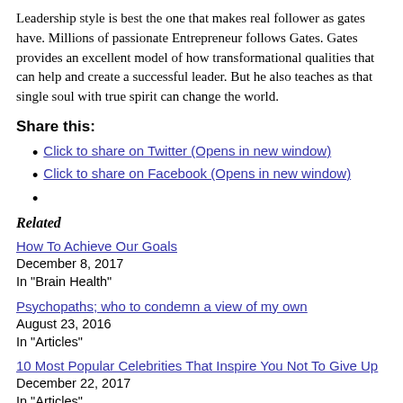Leadership style is best the one that makes real follower as gates have. Millions of passionate Entrepreneur follows Gates. Gates provides an excellent model of how transformational qualities that can help and create a successful leader. But he also teaches as that single soul with true spirit can change the world.
Share this:
Click to share on Twitter (Opens in new window)
Click to share on Facebook (Opens in new window)
Related
How To Achieve Our Goals
December 8, 2017
In "Brain Health"
Psychopaths; who to condemn a view of my own
August 23, 2016
In "Articles"
10 Most Popular Celebrities That Inspire You Not To Give Up
December 22, 2017
In "Articles"